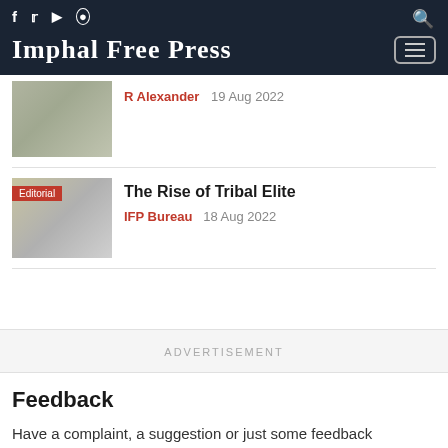Imphal Free Press
[Figure (photo): Blurred article thumbnail image, partial view at top]
R Alexander  19 Aug 2022
[Figure (photo): Blurred article thumbnail image with Editorial badge]
The Rise of Tribal Elite
IFP Bureau  18 Aug 2022
ADVERTISEMENT
Feedback
Have a complaint, a suggestion or just some feedback